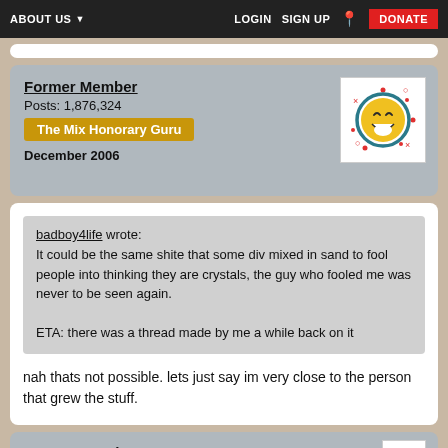ABOUT US  LOGIN  SIGN UP  DONATE
Former Member
Posts: 1,876,324
The Mix Honorary Guru
December 2006
badboy4life wrote:
It could be the same shite that some div mixed in sand to fool people into thinking they are crystals, the guy who fooled me was never to be seen again.

ETA: there was a thread made by me a while back on it
nah thats not possible. lets just say im very close to the person that grew the stuff.
Former Member